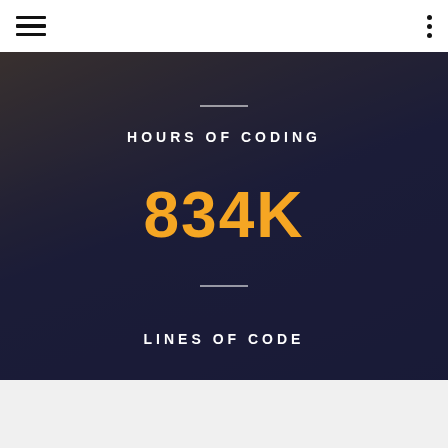Navigation header with hamburger menu and vertical dots menu
HOURS OF CODING
834K
LINES OF CODE